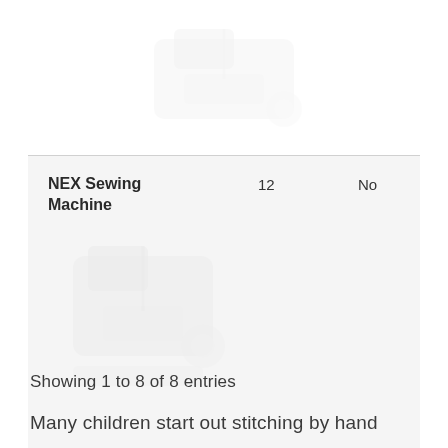[Figure (photo): Faded/watermarked image of a sewing machine, partially visible at the top of the page]
| NEX Sewing Machine | 12 | No |
[Figure (photo): Faded/watermarked image of a sewing machine inside the table row cell]
Showing 1 to 8 of 8 entries
Many children start out stitching by hand